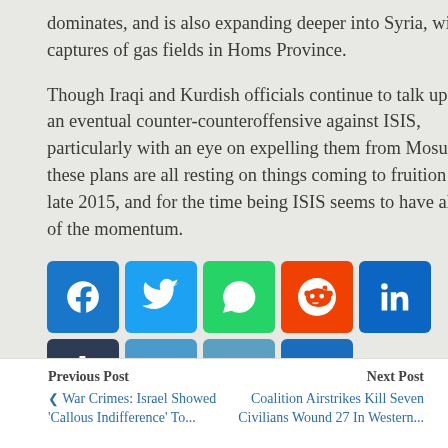dominates, and is also expanding deeper into Syria, with captures of gas fields in Homs Province.
Though Iraqi and Kurdish officials continue to talk up an eventual counter-counteroffensive against ISIS, particularly with an eye on expelling them from Mosul, these plans are all resting on things coming to fruition in late 2015, and for the time being ISIS seems to have all of the momentum.
[Figure (infographic): Social sharing buttons row: Facebook (blue), Twitter (light blue), WhatsApp (green), Reddit (orange-red), LinkedIn (blue), Tumblr (dark navy), Email (steel blue), Print (steel blue), and a More (+) button (blue).]
Previous Post  War Crimes: Israel Showed 'Callous Indifference' To... | Next Post  Coalition Airstrikes Kill Seven Civilians Wound 27 In Western...